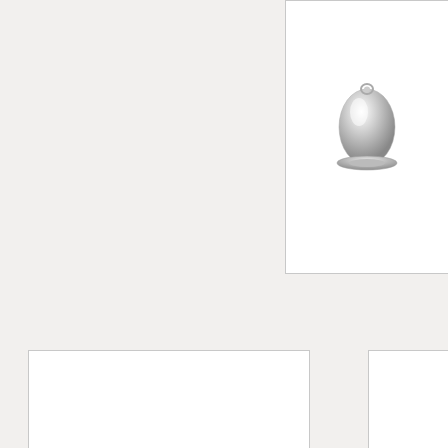[Figure (photo): Silver rhodium plated cord end cap, bell-shaped, shown from above on white background]
[Figure (photo): Smaller view of the same silver rhodium plated cord end cap on white background]
[Figure (illustration): I Ship Internationally graphic: globe image with text 'I Ship' above and 'Internationally' in italic bold below]
Houser House Creations
Taj 4mm Cord End - Qty 4 - TierraCast Rhodium Silver Plated Lead Free Brass